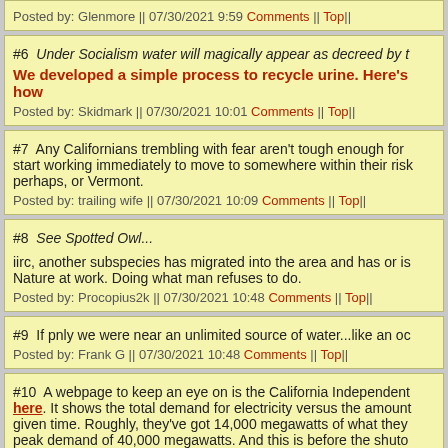Posted by: Glenmore || 07/30/2021 9:59 Comments || Top||
#6 Under Socialism water will magically appear as decreed by t[he...]
We developed a simple process to recycle urine. Here's how[...]
Posted by: Skidmark || 07/30/2021 10:01 Comments || Top||
#7 Any Californians trembling with fear aren't tough enough for [...] start working immediately to move to somewhere within their risk[...] perhaps, or Vermont.
Posted by: trailing wife || 07/30/2021 10:09 Comments || Top||
#8 See Spotted Owl...
iirc, another subspecies has migrated into the area and has or is[...] Nature at work. Doing what man refuses to do.
Posted by: Procopius2k || 07/30/2021 10:48 Comments || Top||
#9 If pnly we were near an unlimited source of water...like an oc[...]
Posted by: Frank G || 07/30/2021 10:48 Comments || Top||
#10 A webpage to keep an eye on is the California Independent[...] here. It shows the total demand for electricity versus the amount[...] given time. Roughly, they've got 14,000 megawatts of what they[...] peak demand of 40,000 megawatts. And this is before the shuto[...]